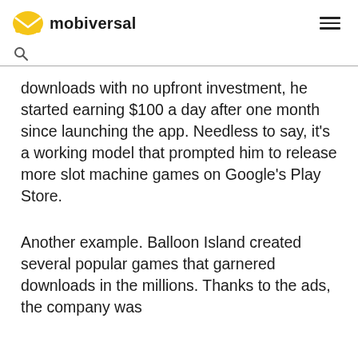mobiversal
downloads with no upfront investment, he started earning $100 a day after one month since launching the app. Needless to say, it’s a working model that prompted him to release more slot machine games on Google’s Play Store.
Another example. Balloon Island created several popular games that garnered downloads in the millions. Thanks to the ads, the company was